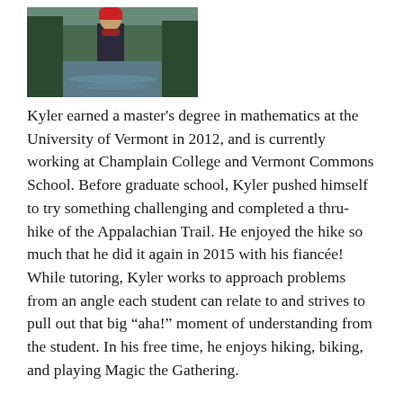[Figure (photo): Outdoor photo of a person wearing a dark jacket and red hat, standing near a lake or river with trees in the background.]
Kyler earned a master’s degree in mathematics at the University of Vermont in 2012, and is currently working at Champlain College and Vermont Commons School. Before graduate school, Kyler pushed himself to try something challenging and completed a thru-hike of the Appalachian Trail. He enjoyed the hike so much that he did it again in 2015 with his fiancée! While tutoring, Kyler works to approach problems from an angle each student can relate to and strives to pull out that big “aha!” moment of understanding from the student. In his free time, he enjoys hiking, biking, and playing Magic the Gathering.